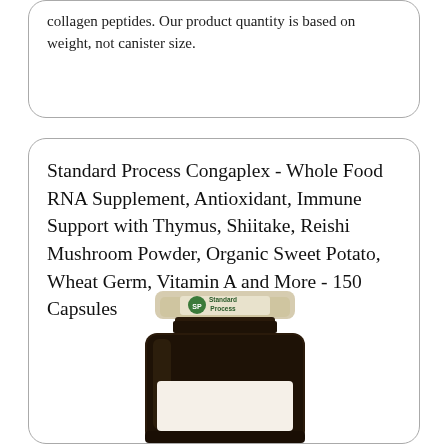collagen peptides. Our product quantity is based on weight, not canister size.
Standard Process Congaplex - Whole Food RNA Supplement, Antioxidant, Immune Support with Thymus, Shiitake, Reishi Mushroom Powder, Organic Sweet Potato, Wheat Germ, Vitamin A and More - 150 Capsules
[Figure (photo): A dark amber glass supplement bottle with a light-colored cap labeled 'Standard Process' with a leaf logo, partially visible.]